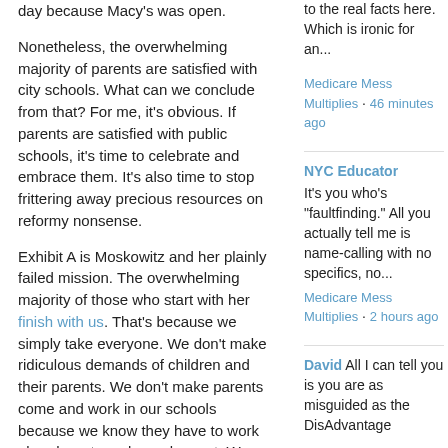day because Macy's was open.
Nonetheless, the overwhelming majority of parents are satisfied with city schools. What can we conclude from that? For me, it's obvious. If parents are satisfied with public schools, it's time to celebrate and embrace them. It's also time to stop frittering away precious resources on reformy nonsense.
Exhibit A is Moskowitz and her plainly failed mission. The overwhelming majority of those who start with her finish with us. That's because we simply take everyone. We don't make ridiculous demands of children and their parents. We don't make parents come and work in our schools because we know they have to work elsewhere to make ends meet. We don't make children do test prep until they pee their pants, and we don't ridicule them if they need more time. We don't make "got to go" lists and we don't humiliate students by hanging up their names for progress or lack thereof. In fact, we don't even take our students on buses to Albany on school days to lobby for our self-serving interests.
And then we come to bullying. I haven't got a
to the real facts here. Which is ironic for an...
Medicare Mess Multiplies · 46 minutes ago
NYC Educator
It's you who's "faultfinding." All you actually tell me is name-calling with no specifics, no...
Medicare Mess Multiplies · 2 hours ago
David All I can tell you is you are as misguided as the DisAdvantage